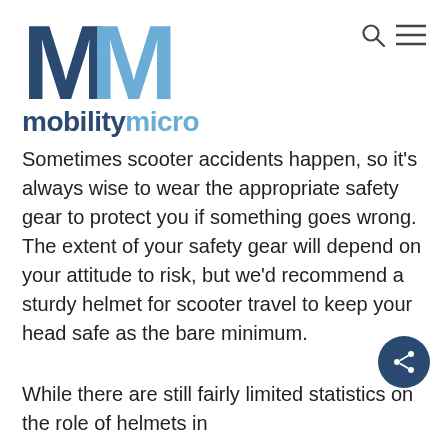[Figure (logo): Mobility Micro logo: two M letters (dark blue and light blue) above the text 'mobilitymicro' with mobility in dark blue and micro in light blue]
Sometimes scooter accidents happen, so it's always wise to wear the appropriate safety gear to protect you if something goes wrong. The extent of your safety gear will depend on your attitude to risk, but we'd recommend a sturdy helmet for scooter travel to keep your head safe as the bare minimum.
While there are still fairly limited statistics on the role of helmets in